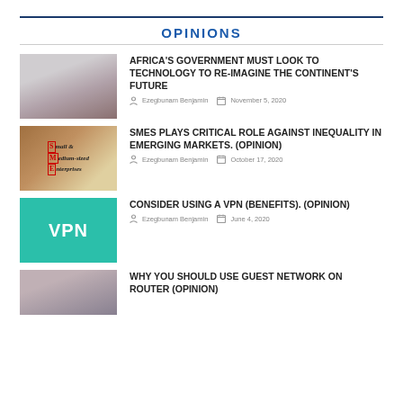OPINIONS
[Figure (photo): Portrait photo of a woman with braids, smiling]
AFRICA'S GOVERNMENT MUST LOOK TO TECHNOLOGY TO RE-IMAGINE THE CONTINENT'S FUTURE
Ezegbunam Benjamin   November 5, 2020
[Figure (photo): Photo of a notepad with 'Small & Medium-sized Enterprises' written on it, with a lightbulb]
SMEs PLAYS CRITICAL ROLE AGAINST INEQUALITY IN EMERGING MARKETS. (OPINION)
Ezegbunam Benjamin   October 17, 2020
[Figure (photo): Teal/green graphic with VPN text]
CONSIDER USING A VPN (BENEFITS). (OPINION)
Ezegbunam Benjamin   June 4, 2020
[Figure (photo): Partial photo of a person (partially cut off at bottom)]
WHY YOU SHOULD USE GUEST NETWORK ON ROUTER (OPINION)